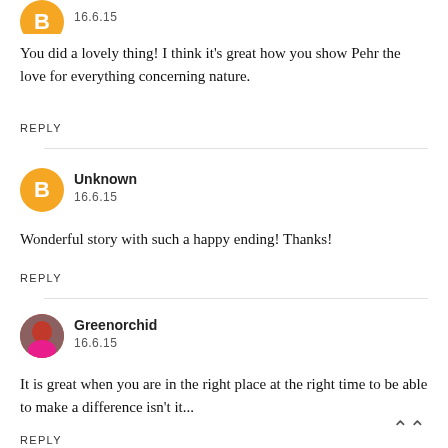[Figure (photo): Orange Blogger avatar icon, partially cut off at top]
16.6.15
You did a lovely thing! I think it's great how you show Pehr the love for everything concerning nature.
REPLY
[Figure (logo): Orange Blogger 'B' avatar icon]
Unknown
16.6.15
Wonderful story with such a happy ending! Thanks!
REPLY
[Figure (photo): Profile photo of Greenorchid user]
Greenorchid
16.6.15
It is great when you are in the right place at the right time to be able to make a difference isn't it...
REPLY